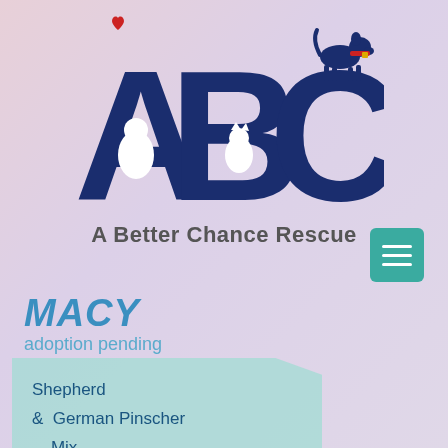[Figure (logo): A Better Chance Rescue (ABC) logo with dark blue letters A, B, C. Letter A contains a white dog silhouette, B contains a white cat silhouette, C has a dog standing on top with a red collar. A red heart sits atop the A letter.]
A Better Chance Rescue
MACY
adoption pending
Shepherd & German Pinscher Mix
FEMALE
1 year